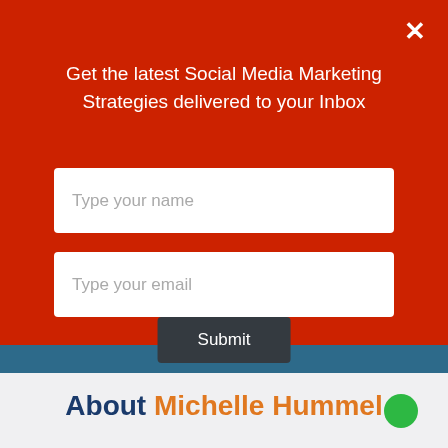×
Get the latest Social Media Marketing Strategies delivered to your Inbox
Type your name
Type your email
Submit
About Michelle Hummel